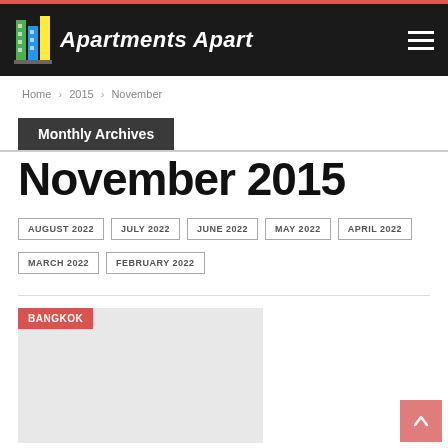Apartments Apart
Home > 2015 > November
Monthly Archives
November 2015
AUGUST 2022
JULY 2022
JUNE 2022
MAY 2022
APRIL 2022
MARCH 2022
FEBRUARY 2022
[Figure (photo): BANGKOK tagged article image placeholder — light gray rectangle]